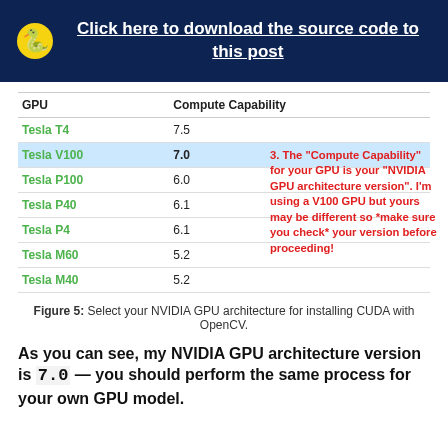Click here to download the source code to this post
| GPU | Compute Capability |
| --- | --- |
| Tesla T4 | 7.5 |
| Tesla V100 | 7.0 |
| Tesla P100 | 6.0 |
| Tesla P40 | 6.1 |
| Tesla P4 | 6.1 |
| Tesla M60 | 5.2 |
| Tesla M40 | 5.2 |
Figure 5: Select your NVIDIA GPU architecture for installing CUDA with OpenCV.
As you can see, my NVIDIA GPU architecture version is 7.0 — you should perform the same process for your own GPU model.